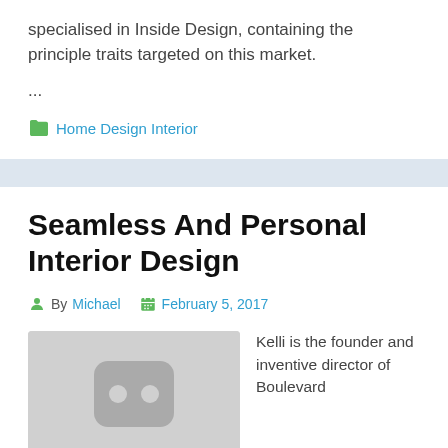specialised in Inside Design, containing the principle traits targeted on this market.
...
Home Design Interior
Seamless And Personal Interior Design
By Michael  February 5, 2017
[Figure (photo): Placeholder image with a dark rounded square icon with two dots]
Kelli is the founder and inventive director of Boulevard